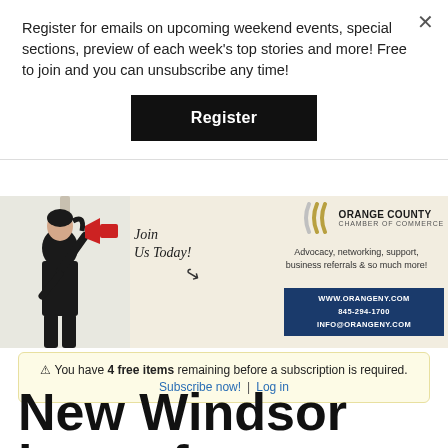Register for emails on upcoming weekend events, special sections, preview of each week’s top stories and more! Free to join and you can unsubscribe any time!
Register
[Figure (illustration): Orange County Chamber of Commerce advertisement banner featuring a woman in business attire holding a megaphone, with the text 'Join Us Today!', 'Advocacy, networking, support, business referrals & so much more!', and contact info: www.orangeny.com, 845-294-1700, info@orangeny.com]
⚠ You have 4 free items remaining before a subscription is required. Subscribe now! | Log in
New Windsor hosts free rabies clinic